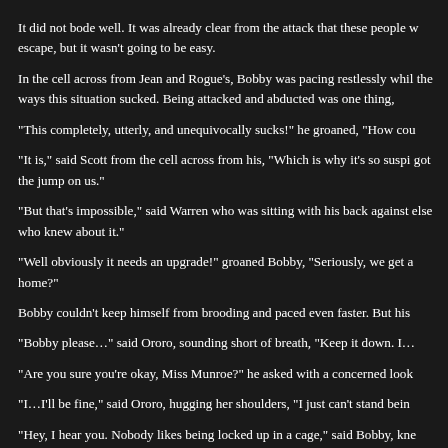It did not bode well. It was already clear from the attack that these people w… escape, but it wasn't going to be easy.
In the cell across from Jean and Rogue's, Bobby was pacing restlessly whil… the ways this situation sucked. Being attacked and abducted was one thing,
“This completely, utterly, and unequivocally sucks!” he groaned, “How cou
“It is,” said Scott from the cell across from his, “Which is why it’s so suspi… got the jump on us.”
“But that’s impossible,” said Warren who was sitting with his back against… else who knew about it.”
“Well obviously it needs an upgrade!” groaned Bobby, “Seriously, we get a… home?”
Bobby couldn’t keep himself from brooding and paced even faster. But his
“Bobby please…” said Ororo, sounding short of breath, “Keep it down. I…
“Are you sure you’re okay, Miss Munroe?” he asked with a concerned look
“I…I’ll be fine,” said Ororo, hugging her shoulders, “I just can’t stand bein
“Hey, I hear you. Nobody likes being locked up in a cage,” said Bobby, kne
“No, you don’t understand!” she said anxiously, “I…I have claustrophobia.